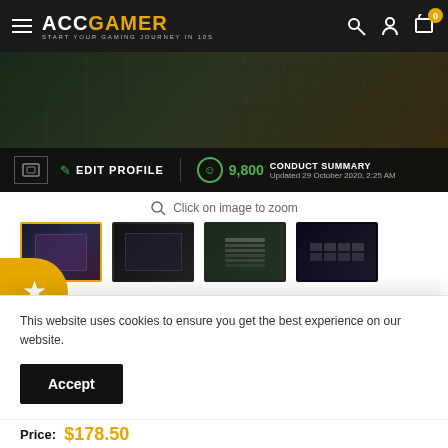ACCGAMER — START YOUR GAMING JOURNEY IN 10S
[Figure (screenshot): Game profile screenshot showing EDIT PROFILE bar with conduct score 9,800 and CONDUCT SUMMARY updated 29 October 2020, 2:25 AM]
Click on image to zoom
[Figure (screenshot): Four product thumbnail images of game account screenshots]
Immortal | MMR: 5700 - Behavior:
This website uses cookies to ensure you get the best experience on our website.
Accept
Price: $178.50